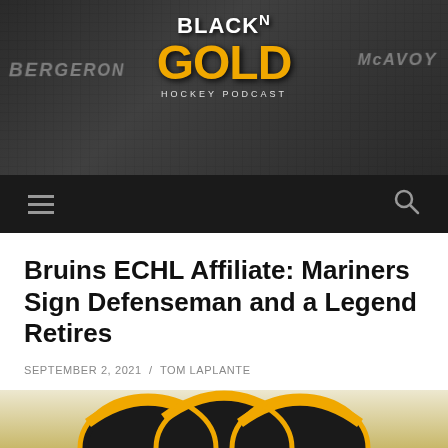[Figure (logo): Black N Gold Hockey Podcast logo banner with jersey background showing BERGERON and McAVOY text]
BLACK N GOLD HOCKEY PODCAST
Bruins ECHL Affiliate: Mariners Sign Defenseman and a Legend Retires
SEPTEMBER 2, 2021 / TOM LAPLANTE
Reading Time: 2 mins
[Figure (illustration): Partial view of Boston Bruins logo illustration with black and gold puck/bear design at the bottom of the page]